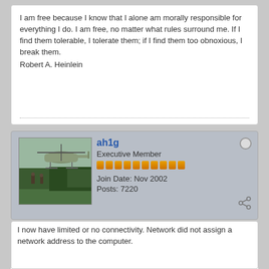I am free because I know that I alone am morally responsible for everything I do. I am free, no matter what rules surround me. If I find them tolerable, I tolerate them; if I find them too obnoxious, I break them.
Robert A. Heinlein
[Figure (photo): Avatar photo of ah1g showing a military helicopter and soldiers in a field]
ah1g
Executive Member
Join Date: Nov 2002
Posts: 7220
January 29, 2013, 19:58
#6
Re: Arrrrgh computers
I now have limited or no connectivity. Network did not assign a network address to the computer.
I tried the release and renew. While it did release it failed to renew.
I have a yellow exclamation point on a ethernet controller but when I try to install it it fails.